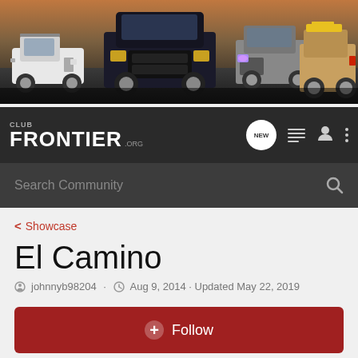[Figure (photo): Hero banner showing four Nissan Frontier trucks lined up: white truck on left, dark blue/black truck center-left, silver truck center-right with purple headlights, and tan/brown truck on right, all against an outdoor background.]
CLUB FRONTIER .ORG
Search Community
< Showcase
El Camino
johnnyb98204 · Aug 9, 2014 · Updated May 22, 2019
+ Follow